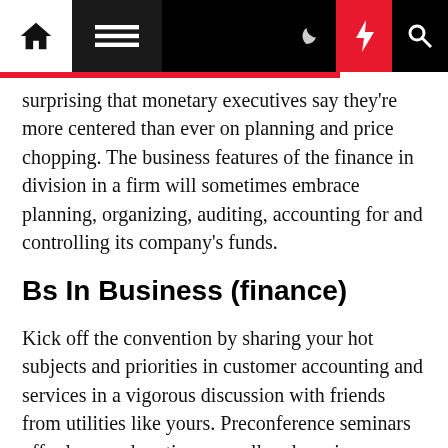Home | Menu | Moon | Bolt | Search
surprising that monetary executives say they're more centered than ever on planning and price chopping. The business features of the finance in division in a firm will sometimes embrace planning, organizing, auditing, accounting for and controlling its company's funds.
Bs In Business (finance)
Kick off the convention by sharing your hot subjects and priorities in customer accounting and services in a vigorous discussion with friends from utilities like yours. Preconference seminars offer longer class times, smaller class sizes, interactive formats, and experienced instructors. Benefit from engaging breakout classes led by business consultants and public power colleagues — take residence